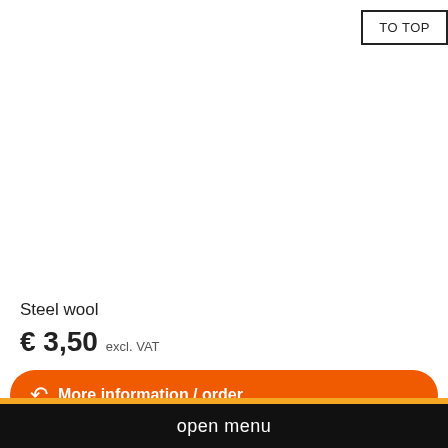TO TOP
Steel wool
€ 3,50 excl. VAT
More information / order
open menu